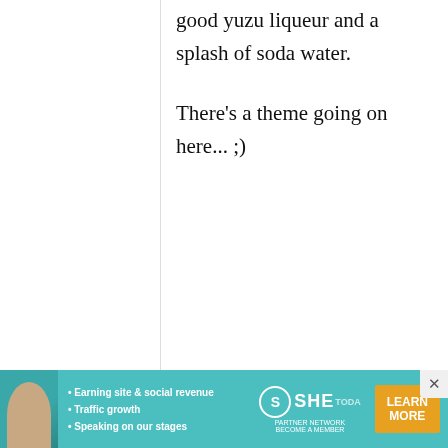good yuzu liqueur and a splash of soda water.

There's a theme going on here... ;)
homodachi
11 September, 2009 - 01:49
permalink
Re: Book review and giveaway: Izakaya, the Japanese Pub...
[Figure (infographic): SHE Partner Network advertisement banner with woman photo, bullet points about earning site & social revenue, traffic growth, speaking on stages, SHE logo, and Learn More button]